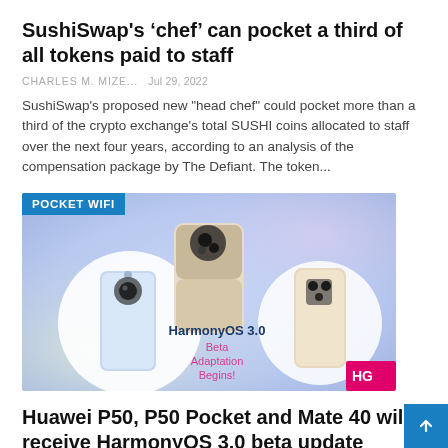SushiSwap's 'chef' can pocket a third of all tokens paid to staff
CHARLES M. MIZE...   Jul 29, 2022
SushiSwap's proposed new "head chef" could pocket more than a third of the crypto exchange's total SUSHI coins allocated to staff over the next four years, according to an analysis of the compensation package by The Defiant. The token...
[Figure (photo): Huawei smartphones and foldable phone displayed on gradient background with 'POCKET WIFI' label. Text overlay reads 'HarmonyOS 3.0 Beta Adaptation Begins!']
Huawei P50, P50 Pocket and Mate 40 will receive HarmonyOS 3.0 beta update
CHARLES M. MIZE...   Jul 29, 2022
Huawei has already announced the HarmonyOS 3.0 dynamic operating